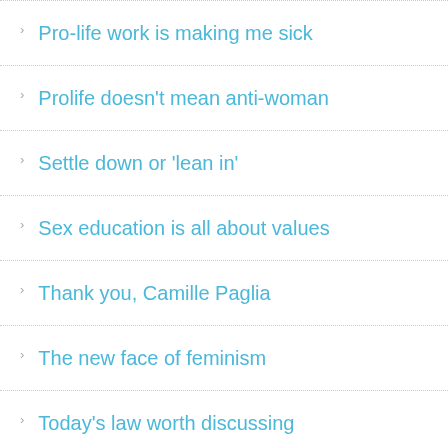Pro-life work is making me sick
Prolife doesn't mean anti-woman
Settle down or 'lean in'
Sex education is all about values
Thank you, Camille Paglia
The new face of feminism
Today's law worth discussing
When debate is shut down in Canada's highest places